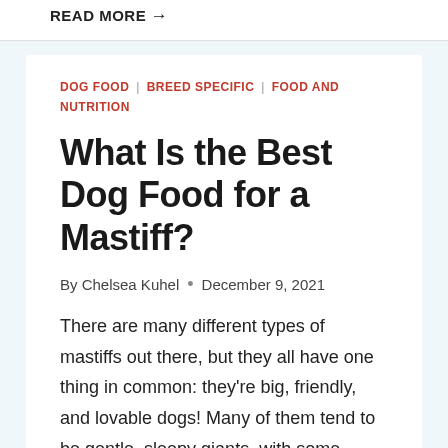READ MORE →
DOG FOOD | BREED SPECIFIC | FOOD AND NUTRITION
What Is the Best Dog Food for a Mastiff?
By Chelsea Kuhel • December 9, 2021
There are many different types of mastiffs out there, but they all have one thing in common: they're big, friendly, and lovable dogs! Many of them tend to be gentle, sleepy giants, with some